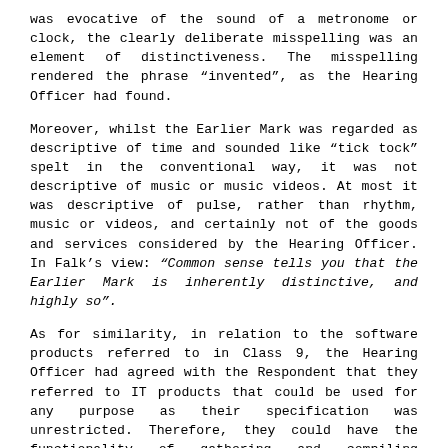was evocative of the sound of a metronome or clock, the clearly deliberate misspelling was an element of distinctiveness. The misspelling rendered the phrase “invented”, as the Hearing Officer had found.
Moreover, whilst the Earlier Mark was regarded as descriptive of time and sounded like “tick tock” spelt in the conventional way, it was not descriptive of music or music videos. At most it was descriptive of pulse, rather than rhythm, music or videos, and certainly not of the goods and services considered by the Hearing Officer. In Falk’s view: “Common sense tells you that the Earlier Mark is inherently distinctive, and highly so”.
As for similarity, in relation to the software products referred to in Class 9, the Hearing Officer had agreed with the Respondent that they referred to IT products that could be used for any purpose as their specification was unrestricted. Therefore, they could have the functionality of gathering and compiling information, such that there was some overlap in nature, purpose and users to cause at least a low level of similarity to exist.
The Appellant argued that the possibility of use was insufficient to establish similarity and used the analogy of a